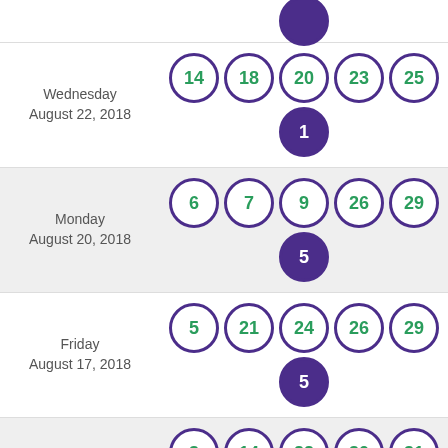[Figure (infographic): Lottery draw results showing date and winning numbers. Partial top row with one ball visible (purple filled ball at top). Row 1: Wednesday August 22, 2018 - main balls 14,18,20,23,25 bonus 1. Row 2: Monday August 20, 2018 - main balls 6,7,9,26,29 bonus 5. Row 3: Friday August 17, 2018 - main balls 5,21,24,26,29 bonus 5. Row 4: Wednesday August 15, 2018 - main balls 3,14,22,30,31 bonus 5. Partial bottom row: Monday with balls 3,16,17,23,32 partially visible.]